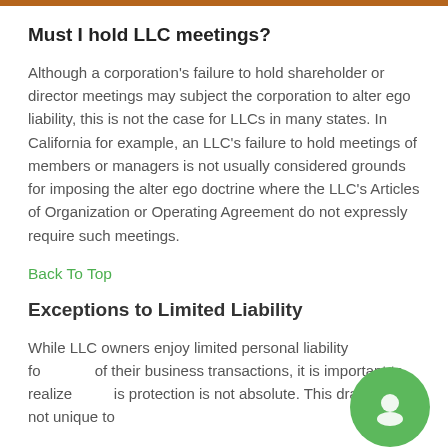Must I hold LLC meetings?
Although a corporation's failure to hold shareholder or director meetings may subject the corporation to alter ego liability, this is not the case for LLCs in many states. In California for example, an LLC's failure to hold meetings of members or managers is not usually considered grounds for imposing the alter ego doctrine where the LLC's Articles of Organization or Operating Agreement do not expressly require such meetings.
Back To Top
Exceptions to Limited Liability
While LLC owners enjoy limited personal liability for most of their business transactions, it is important to realize that this protection is not absolute. This drawback is not unique to